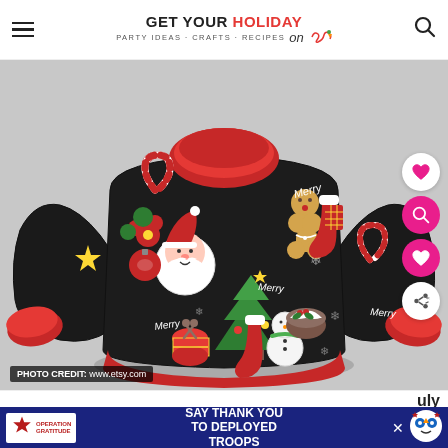GET YOUR HOLIDAY on · PARTY IDEAS · CRAFTS · RECIPES
[Figure (photo): An inflatable balloon shaped like a Christmas ugly sweater. The sweater is black with colorful holiday decorations including Santa Claus, a Christmas tree, gingerbread man, snowman, candy canes, stockings, ornaments, and the word 'Merry'. The collar and cuffs are red.]
PHOTO CREDIT: www.etsy.com
SAY THANK YOU TO DEPLOYED TROOPS